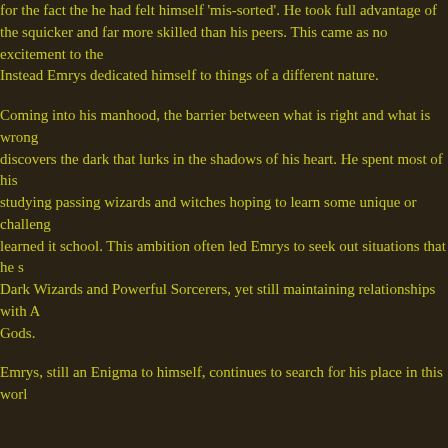for the fact the he had felt himself 'mis-sorted'. He took full advantage of the s... quicker and far more skilled than his peers. This came as no excitement to the... Instead Emrys dedicated himself to things of a different nature.
Coming into his manhood, the barrier between what is right and what is wrong... discovers the dark that lurks in the shadows of his heart. He spent most of his... studying passing wizards and witches hoping to learn some unique or challeng... learned it school. This ambition often led Emrys to seek out situations that he s... Dark Wizards and Powerful Sorcerers, yet still maintaining relationships with A... Gods.
Emrys, still an Enigma to himself, continues to search for his place in this wor...